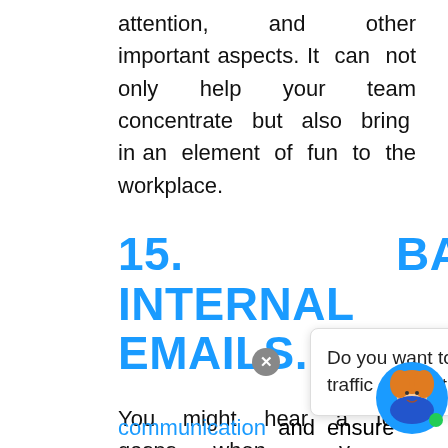attention, and other important aspects. It can not only help your team concentrate but also bring in an element of fun to the workplace.
15. BAN INTERNAL EMAILS.
You might hear a few gasps when you bring this idea to the table, but it's a great way
[Figure (screenshot): Popup tooltip overlay reading: 'Do you want to generate leads, web traffic or event bookings? Attract...' with a close button and an avatar illustration of a woman with orange hair.]
communication and ensure